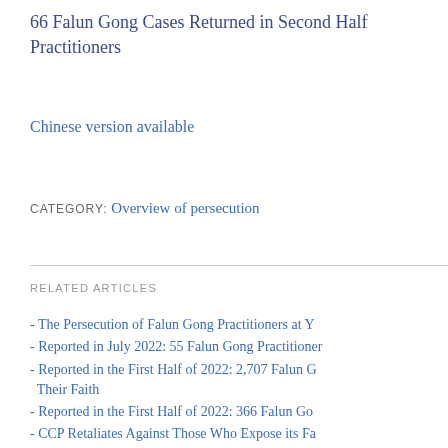66 Falun Gong Cases Returned in Second Half Practitioners
Chinese version available
CATEGORY: Overview of persecution
RELATED ARTICLES
- The Persecution of Falun Gong Practitioners at Y
- Reported in July 2022: 55 Falun Gong Practitioner
- Reported in the First Half of 2022: 2,707 Falun G Their Faith
- Reported in the First Half of 2022: 366 Falun Go
- CCP Retaliates Against Those Who Expose its Fa
- Persecution Deaths of 17 Falun Gong Practitioner